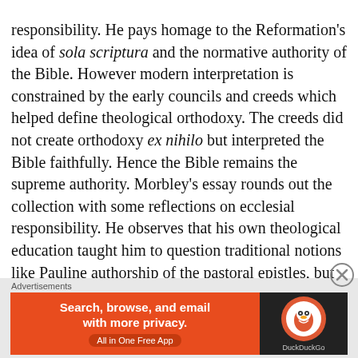responsibility. He pays homage to the Reformation's idea of sola scriptura and the normative authority of the Bible. However modern interpretation is constrained by the early councils and creeds which helped define theological orthodoxy. The creeds did not create orthodoxy ex nihilo but interpreted the Bible faithfully. Hence the Bible remains the supreme authority. Morbley's essay rounds out the collection with some reflections on ecclesial responsibility. He observes that his own theological education taught him to question traditional notions like Pauline authorship of the pastoral epistles, but did not equip him to interpret texts for the church which affirms veracity of these epistles as part of the canon.
Advertisements
[Figure (other): DuckDuckGo advertisement banner: orange left side with text 'Search, browse, and email with more privacy. All in One Free App' and dark right side with DuckDuckGo logo.]